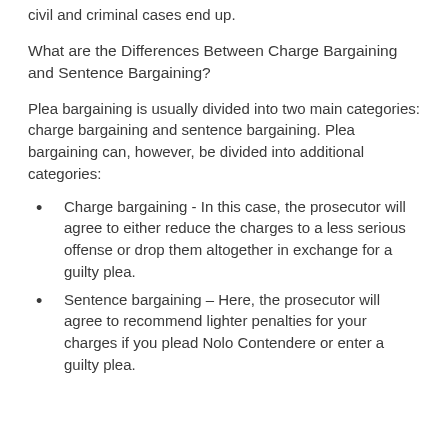civil and criminal cases end up.
What are the Differences Between Charge Bargaining and Sentence Bargaining?
Plea bargaining is usually divided into two main categories: charge bargaining and sentence bargaining. Plea bargaining can, however, be divided into additional categories:
Charge bargaining - In this case, the prosecutor will agree to either reduce the charges to a less serious offense or drop them altogether in exchange for a guilty plea.
Sentence bargaining – Here, the prosecutor will agree to recommend lighter penalties for your charges if you plead Nolo Contendere or enter a guilty plea.